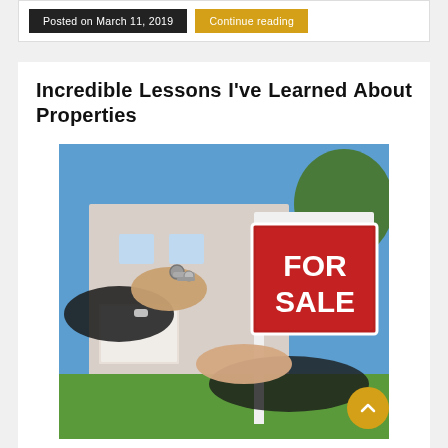Posted on March 11, 2019
Continue reading
Incredible Lessons I've Learned About Properties
[Figure (photo): Photo of two people exchanging house keys in front of a 'FOR SALE' sign, with a suburban house in the background.]
How to Sell Your House Fast and for Cash Where one has